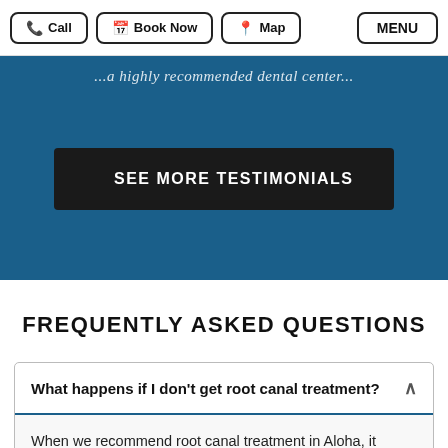Call | Book Now | Map | MENU
...highly recommended dental...
SEE MORE TESTIMONIALS
FREQUENTLY ASKED QUESTIONS
What happens if I don't get root canal treatment?
When we recommend root canal treatment in Aloha, it